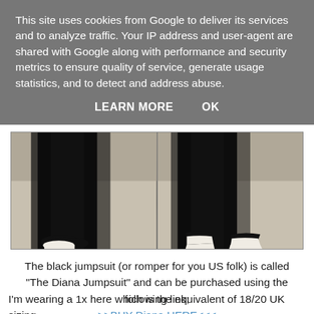This site uses cookies from Google to deliver its services and to analyze traffic. Your IP address and user-agent are shared with Google along with performance and security metrics to ensure quality of service, generate usage statistics, and to detect and address abuse.
LEARN MORE    OK
[Figure (photo): Two side-by-side photos showing the lower half of a person wearing a black jumpsuit/flared pants. Left photo shows the pants pooling on the floor without heels. Right photo shows the same pants worn with white pointed-toe heels, showing proper length.]
The black jumpsuit (or romper for you US folk) is called "The Diana Jumpsuit" and can be purchased using the following link; >>BUY Diana HERE<<<
I'm wearing a 1x here which is the equivalent of 18/20 UK sizing.